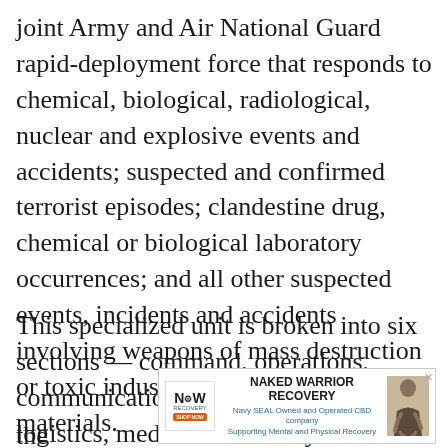joint Army and Air National Guard rapid-deployment force that responds to chemical, biological, radiological, nuclear and explosive events and accidents; suspected and confirmed terrorist episodes; clandestine drug, chemical or biological laboratory occurrences; and all other suspected events, incidents and accidents involving weapons of mass destruction or toxic industrial chemicals or materials.
This specialized unit is broken into six sections — command, operations, communications, administration and logistics, medical and survey — with each member receiving app[roximately ... h]ours of training in the[ir designated specialty].
[Figure (other): Advertisement banner for 'Naked Warrior Recovery' — Navy SEAL Owned and Operated CBD company Supporting Mental and Physical Recovery. Features logo with NW letters, shop now button, ad text, and image of a person.]